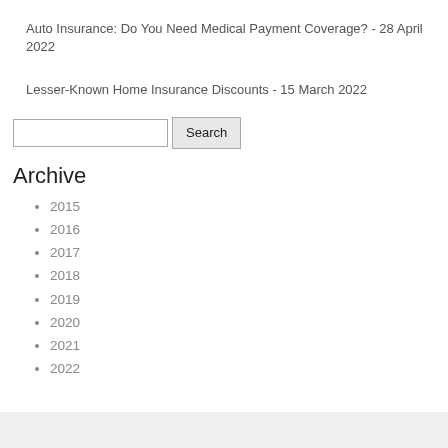Auto Insurance: Do You Need Medical Payment Coverage? - 28 April 2022
Lesser-Known Home Insurance Discounts - 15 March 2022
Search
Archive
2015
2016
2017
2018
2019
2020
2021
2022